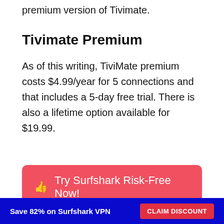premium version of Tivimate.
Tivimate Premium
As of this writing, TiviMate premium costs $4.99/year for 5 connections and that includes a 5-day free trial. There is also a lifetime option available for $19.99.
[Figure (other): Red rounded button with thumbs-up icon and text 'Try Surfshark Risk-Free Now!']
Save 82% on Surfshark VPN   CLAIM DISCOUNT